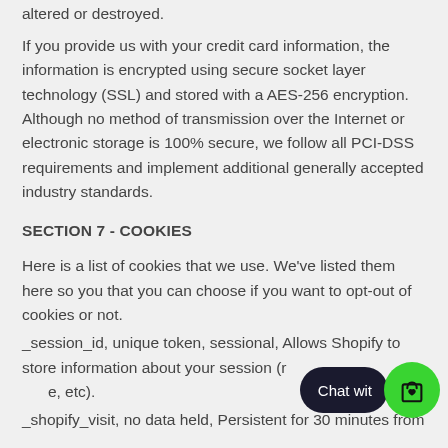altered or destroyed.
If you provide us with your credit card information, the information is encrypted using secure socket layer technology (SSL) and stored with a AES-256 encryption. Although no method of transmission over the Internet or electronic storage is 100% secure, we follow all PCI-DSS requirements and implement additional generally accepted industry standards.
SECTION 7 - COOKIES
Here is a list of cookies that we use. We've listed them here so you that you can choose if you want to opt-out of cookies or not.
_session_id, unique token, sessional, Allows Shopify to store information about your session (referrer, landing page, etc).
_shopify_visit, no data held, Persistent for 30 minutes from